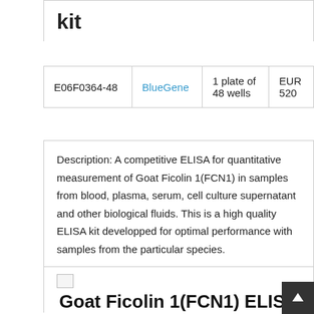kit
| E06F0364-48 | BlueGene | 1 plate of 48 wells | EUR 520 |
Description: A competitive ELISA for quantitative measurement of Goat Ficolin 1(FCN1) in samples from blood, plasma, serum, cell culture supernatant and other biological fluids. This is a high quality ELISA kit developped for optimal performance with samples from the particular species.
[Figure (photo): Broken image placeholder]
Goat Ficolin 1(FCN1) ELISA